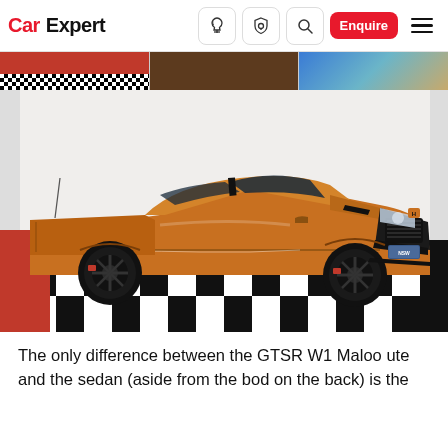CarExpert — navigation bar with logo, icons, Enquire button, and hamburger menu
[Figure (photo): Thumbnail strip of three partial car images at the top of the article]
[Figure (photo): Orange HSV GTSR W1 Maloo ute parked on a black-and-white checkered floor mat with a red border in a white tent/showroom setting]
The only difference between the GTSR W1 Maloo ute and the sedan (aside from the bod on the back) is the